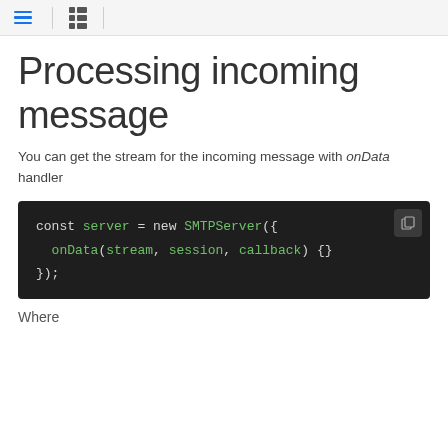[menu icon] [list icon]
Processing incoming message
You can get the stream for the incoming message with onData handler
[Figure (screenshot): Code block showing: const server = new SMTPServer({
  onData(stream, session, callback) {}
});]
Where